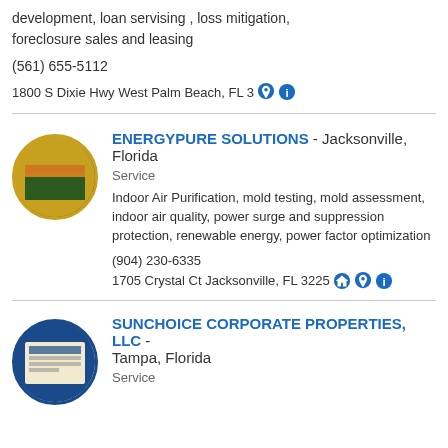development, loan servising , loss mitigation, foreclosure sales and leasing
(561) 655-5112
1800 S Dixie Hwy West Palm Beach, FL 3[map][info]
ENERGYPURE SOLUTIONS - Jacksonville, Florida
Service
Indoor Air Purification, mold testing, mold assessment, indoor air quality, power surge and suppression protection, renewable energy, power factor optimization
(904) 230-6335
1705 Crystal Ct Jacksonville, FL 3225[home][map][info]
SUNCHOICE CORPORATE PROPERTIES, LLC - Tampa, Florida
Service